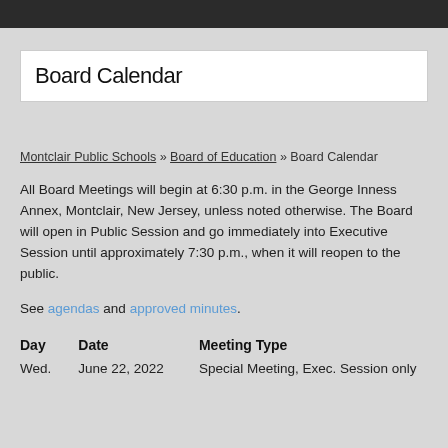Board Calendar
Montclair Public Schools » Board of Education » Board Calendar
All Board Meetings will begin at 6:30 p.m. in the George Inness Annex, Montclair, New Jersey, unless noted otherwise. The Board will open in Public Session and go immediately into Executive Session until approximately 7:30 p.m., when it will reopen to the public.
See agendas and approved minutes.
| Day | Date | Meeting Type |
| --- | --- | --- |
| Wed. | June 22, 2022 | Special Meeting, Exec. Session only |